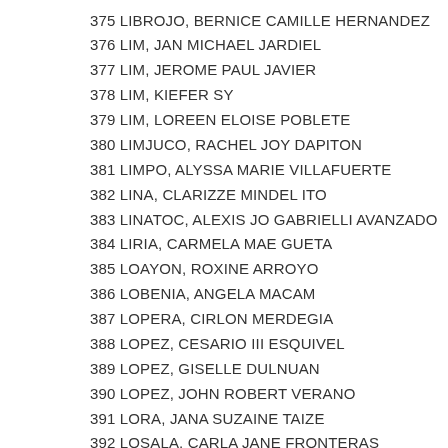375 LIBROJO, BERNICE CAMILLE HERNANDEZ
376 LIM, JAN MICHAEL JARDIEL
377 LIM, JEROME PAUL JAVIER
378 LIM, KIEFER SY
379 LIM, LOREEN ELOISE POBLETE
380 LIMJUCO, RACHEL JOY DAPITON
381 LIMPO, ALYSSA MARIE VILLAFUERTE
382 LINA, CLARIZZE MINDEL ITO
383 LINATOC, ALEXIS JO GABRIELLI AVANZADO
384 LIRIA, CARMELA MAE GUETA
385 LOAYON, ROXINE ARROYO
386 LOBENIA, ANGELA MACAM
387 LOPERA, CIRLON MERDEGIA
388 LOPEZ, CESARIO III ESQUIVEL
389 LOPEZ, GISELLE DULNUAN
390 LOPEZ, JOHN ROBERT VERANO
391 LORA, JANA SUZAINE TAIZE
392 LOSALA, CARLA JANE FRONTERAS
393 LOVERIO, MARIGOLD KATRINA SEISA